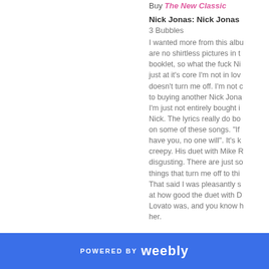Buy The New Classic
Nick Jonas: Nick Jonas
3 Bubbles
I wanted more from this albu are no shirtless pictures in t booklet, so what the fuck Ni just at it's core I'm not in lov doesn't turn me off. I'm not c to buying another Nick Jona I'm just not entirely bought i Nick. The lyrics really do bo on some of these songs. "If have you, no one will". It's k creepy. His duet with Mike R disgusting. There are just so things that turn me off to thi That said I was pleasantly s at how good the duet with D Lovato was, and you know h her.
POWERED BY weebly